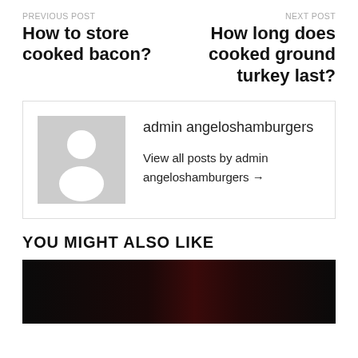PREVIOUS POST
How to store cooked bacon?
NEXT POST
How long does cooked ground turkey last?
admin angeloshamburgers
View all posts by admin angeloshamburgers →
YOU MIGHT ALSO LIKE
[Figure (photo): Dark background photo at bottom of page]